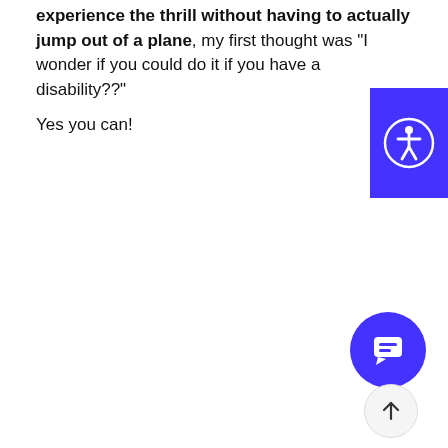experience the thrill without having to actually jump out of a plane, my first thought was "I wonder if you could do it if you have a disability??" Yes you can!
[Figure (illustration): Blue/purple square accessibility button with a person icon (universal accessibility symbol) in white, positioned at the right edge of the page]
[Figure (illustration): Purple circular chat/messaging button with a chat bubble icon in white, positioned at the bottom right]
[Figure (illustration): Light gray circular scroll-to-top button with an upward arrow, positioned at the bottom right below the chat button]